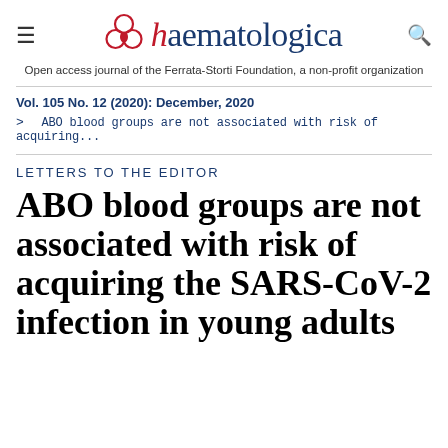haematologica — Open access journal of the Ferrata-Storti Foundation, a non-profit organization
Vol. 105 No. 12 (2020): December, 2020
> ABO blood groups are not associated with risk of acquiring...
LETTERS TO THE EDITOR
ABO blood groups are not associated with risk of acquiring the SARS-CoV-2 infection in young adults